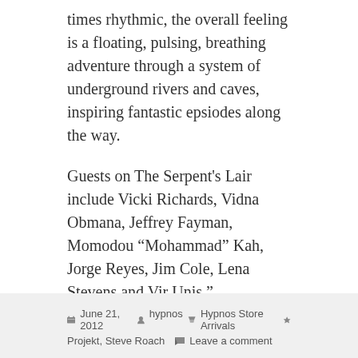times rhythmic, the overall feeling is a floating, pulsing, breathing adventure through a system of underground rivers and caves, inspiring fantastic epsiodes along the way.
Guests on The Serpent's Lair include Vicki Richards, Vidna Obmana, Jeffrey Fayman, Momodou “Mohammad” Kah, Jorge Reyes, Jim Cole, Lena Stevens and Vir Unis.”…..
[Figure (illustration): Green shopping basket icon]
More info / Buy 2-CD for $17.99
Like  Tweet  Share
June 21, 2012  hypnos  Hypnos Store Arrivals  Projekt, Steve Roach  Leave a comment